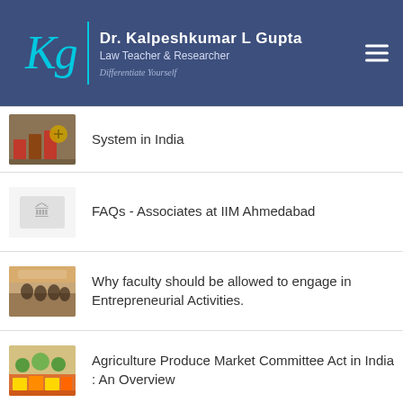Dr. Kalpeshkumar L Gupta — Law Teacher & Researcher
System in India
FAQs - Associates at IIM Ahmedabad
Why faculty should be allowed to engage in Entrepreneurial Activities.
Agriculture Produce Market Committee Act in India : An Overview